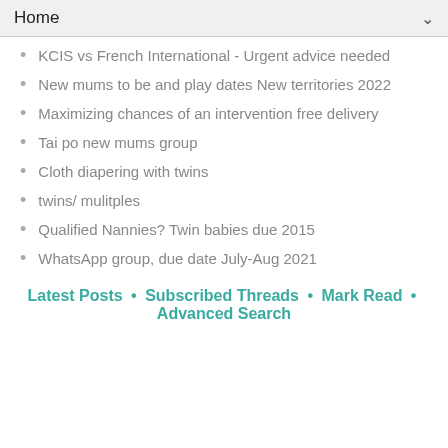Home
KCIS vs French International - Urgent advice needed
New mums to be and play dates New territories 2022
Maximizing chances of an intervention free delivery
Tai po new mums group
Cloth diapering with twins
twins/ mulitples
Qualified Nannies? Twin babies due 2015
WhatsApp group, due date July-Aug 2021
Latest Posts • Subscribed Threads • Mark Read • Advanced Search